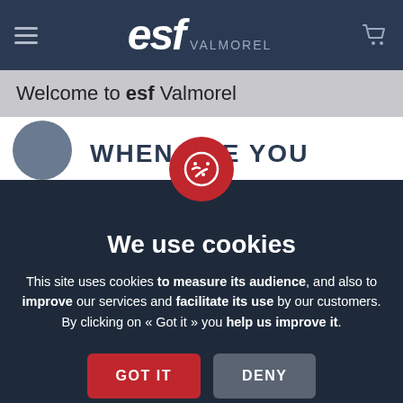[Figure (screenshot): ESF Valmorel website header navigation bar with hamburger menu, ESF italic logo, VALMOREL text, and shopping cart icon on dark navy background]
Welcome to esf Valmorel
[Figure (screenshot): Partially visible booking widget with circular avatar and 'WHEN ARE YOU' text on white background]
[Figure (logo): Red circle cookie consent icon with cookie illustration in white]
We use cookies
This site uses cookies to measure its audience, and also to improve our services and facilitate its use by our customers. By clicking on « Got it » you help us improve it.
GOT IT
DENY